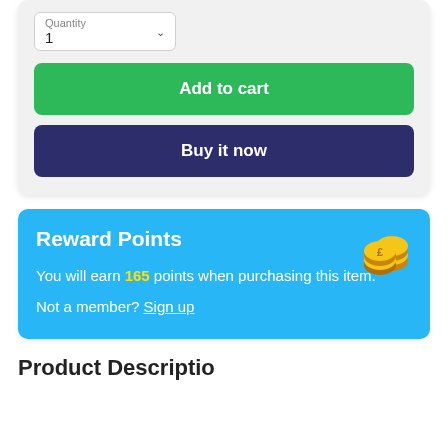[Figure (screenshot): Quantity selector dropdown showing value 1 with a chevron/arrow, Add to cart green button, and Buy it now dark navy button inside a light grey card]
Reward Points
You will earn 165 points when purchasing this item.
Not a member? Sign up
Product Description